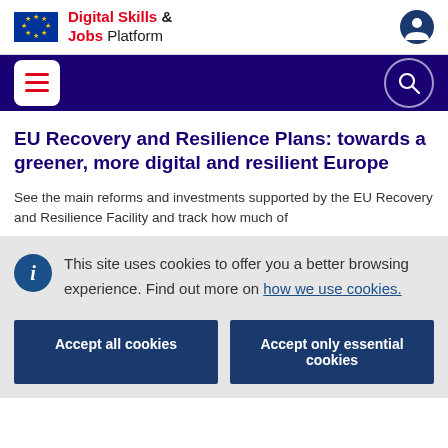Digital Skills & Jobs Platform
EU Recovery and Resilience Plans: towards a greener, more digital and resilient Europe
See the main reforms and investments supported by the EU Recovery and Resilience Facility and track how much of
This site uses cookies to offer you a better browsing experience. Find out more on how we use cookies.
Accept all cookies
Accept only essential cookies